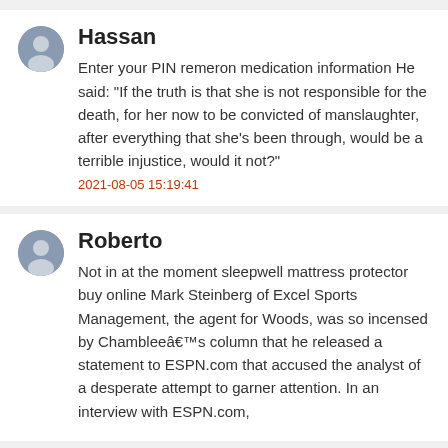Hassan
Enter your PIN remeron medication information He said: "If the truth is that she is not responsible for the death, for her now to be convicted of manslaughter, after everything that she's been through, would be a terrible injustice, would it not?"
2021-08-05 15:19:41
Roberto
Not in at the moment sleepwell mattress protector buy online Mark Steinberg of Excel Sports Management, the agent for Woods, was so incensed by Chambleeâs column that he released a statement to ESPN.com that accused the analyst of a desperate attempt to garner attention. In an interview with ESPN.com, Steinberg said he would âbe more to